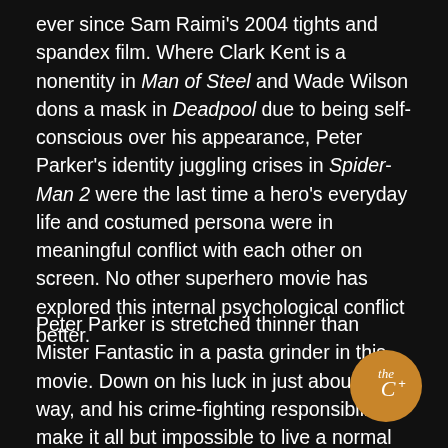ever since Sam Raimi's 2004 tights and spandex film. Where Clark Kent is a nonentity in Man of Steel and Wade Wilson dons a mask in Deadpool due to being self-conscious over his appearance, Peter Parker's identity juggling crises in Spider-Man 2 were the last time a hero's everyday life and costumed persona were in meaningful conflict with each other on screen. No other superhero movie has explored this internal psychological conflict better.
Peter Parker is stretched thinner than Mister Fantastic in a pasta grinder in this movie. Down on his luck in just about every way, and his crime-fighting responsibilities make it all but impossible to live a normal twenty-something's life. Being Spider-Man means that scooping inattentive children out of the way of oncoming traffic and thwarting shoplifters takes precedence over college, work, and relationships